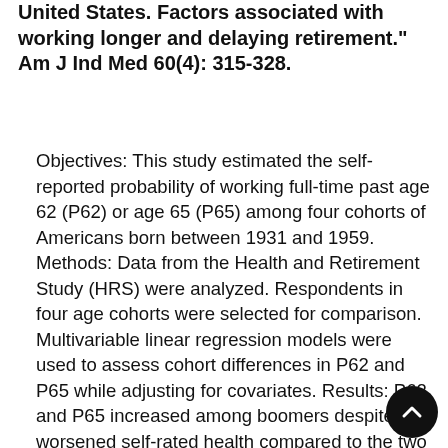United States. Factors associated with working longer and delaying retirement." Am J Ind Med 60(4): 315-328.
Objectives: This study estimated the self-reported probability of working full-time past age 62 (P62) or age 65 (P65) among four cohorts of Americans born between 1931 and 1959. Methods: Data from the Health and Retirement Study (HRS) were analyzed. Respondents in four age cohorts were selected for comparison. Multivariable linear regression models were used to assess cohort differences in P62 and P65 while adjusting for covariates. Results: P62 and P65 increased among boomers despite worsened self-rated health compared to the two preceding cohorts, with 37% and 80% increases among mid-boomers in construction trades. Cohort differences in P62 and P65 remained after controlling for covariates. Changes in pensions, income